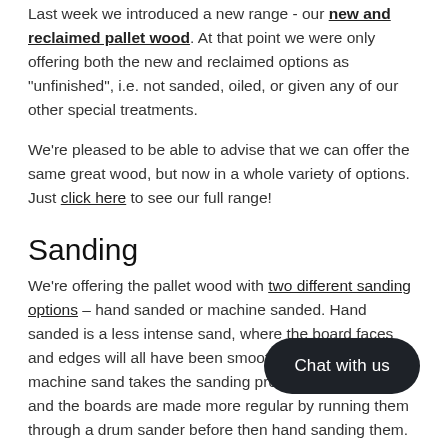Last week we introduced a new range - our new and reclaimed pallet wood. At that point we were only offering both the new and reclaimed options as "unfinished", i.e. not sanded, oiled, or given any of our other special treatments.
We're pleased to be able to advise that we can offer the same great wood, but now in a whole variety of options. Just click here to see our full range!
Sanding
We're offering the pallet wood with two different sanding options – hand sanded or machine sanded. Hand sanded is a less intense sand, where the board faces and edges will all have been smoothed off, whereas the machine sand takes the sanding process that bit further and the boards are made more regular by running them through a drum sander before then hand sanding them. Both have their find that the hand sanded boards are th range of smaller projects, such as shabby chic furniture or shelves, whereas the machine sanded finish suits larger projects